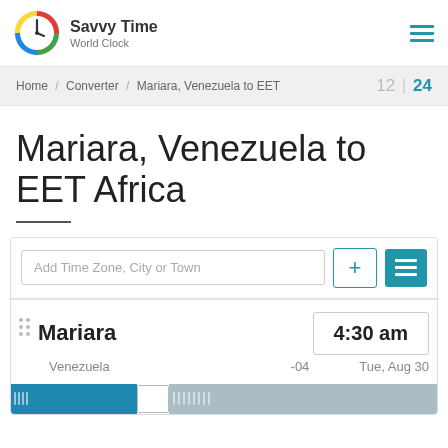Savvy Time World Clock
Home / Converter / Mariara, Venezuela to EET   12 | 24
Mariara, Venezuela to EET Africa
Add Time Zone, City or Town
Mariara   4:30 am
Venezuela   -04   Tue, Aug 30